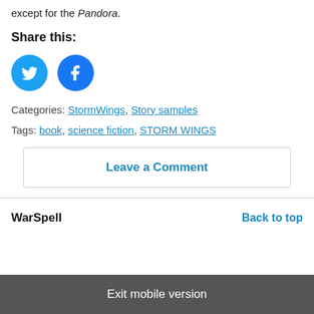except for the Pandora.
Share this:
[Figure (other): Twitter and Facebook social share icon buttons (blue circles with white icons)]
Categories: StormWings, Story samples
Tags: book, science fiction, STORM WINGS
Leave a Comment
WarSpell
Back to top
Exit mobile version